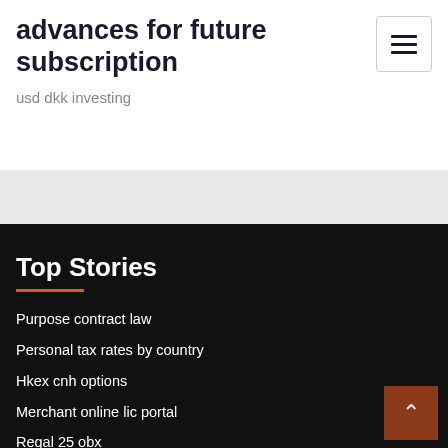advances for future subscription
usd dkk investing
Top Stories
Purpose contract law
Personal tax rates by country
Hkex cnh options
Merchant online lic portal
Regal 25 obx